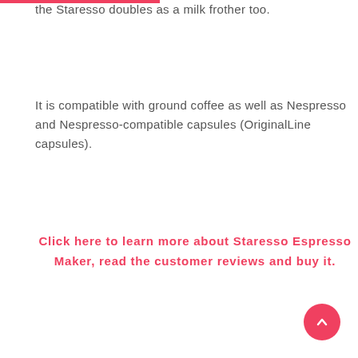the Staresso doubles as a milk frother too.
It is compatible with ground coffee as well as Nespresso and Nespresso-compatible capsules (OriginalLine capsules).
Click here to learn more about Staresso Espresso Maker, read the customer reviews and buy it.